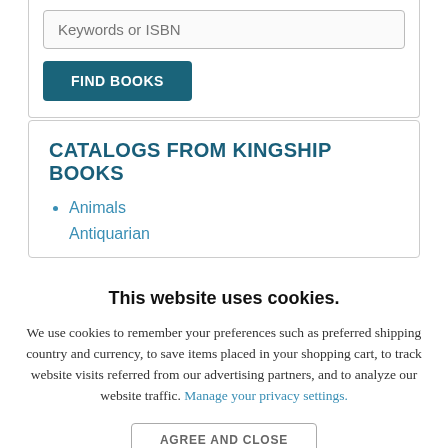[Figure (screenshot): Search input field with placeholder text 'Keywords or ISBN' and a 'FIND BOOKS' button below it, inside a card/box UI element]
CATALOGS FROM KINGSHIP BOOKS
Animals
Antiquarian
This website uses cookies.
We use cookies to remember your preferences such as preferred shipping country and currency, to save items placed in your shopping cart, to track website visits referred from our advertising partners, and to analyze our website traffic. Manage your privacy settings.
AGREE AND CLOSE